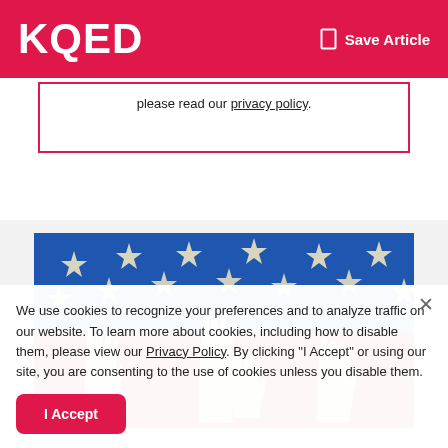KQED | Save Article
please read our privacy policy.
[Figure (photo): Artwork showing multiple raised hands reaching upward toward stars on a red and blue American flag background]
We use cookies to recognize your preferences and to analyze traffic on our website. To learn more about cookies, including how to disable them, please view our Privacy Policy. By clicking “I Accept” or using our site, you are consenting to the use of cookies unless you disable them.
I Accept